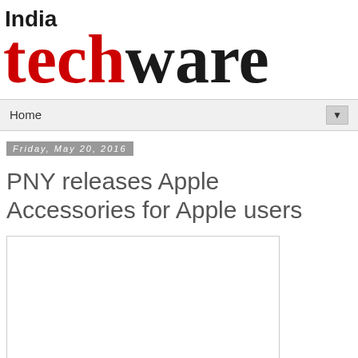[Figure (logo): India Techware logo — 'India' in bold black above large serif text with 'tech' in red and 'ware' in black]
Home ▼
Friday, May 20, 2016
PNY releases Apple Accessories for Apple users
[Figure (photo): Article image placeholder — white rectangle with thin border]